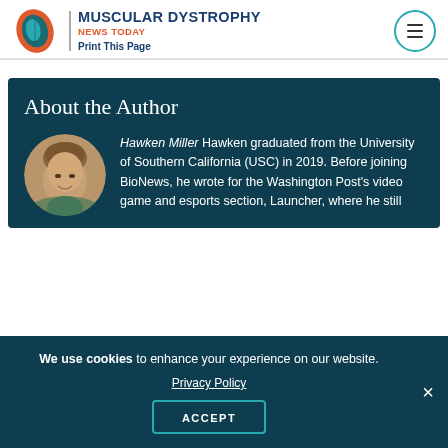MUSCULAR DYSTROPHY NEWS TODAY | Print This Page
About the Author
[Figure (photo): Circular headshot photo of Hawken Miller, a young man with light brown hair, smiling]
Hawken Miller Hawken graduated from the University of Southern California (USC) in 2019. Before joining BioNews, he wrote for the Washington Post's video game and esports section, Launcher, where he still
We use cookies to enhance your experience on our website. Privacy Policy ACCEPT